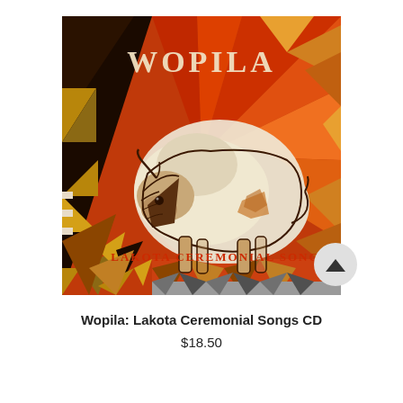[Figure (illustration): Album cover for 'Wopila: Lakota Ceremonial Songs' showing an artistic illustration of a white bison/buffalo against a geometric patterned background in red, orange, gold, and black. The word 'WOPILA' appears at the top in cream/tan letters, and 'LAKOTA CEREMONIAL SONGS' appears at the bottom in red letters. A circular scroll-up button appears in the lower right corner.]
Wopila: Lakota Ceremonial Songs CD
$18.50